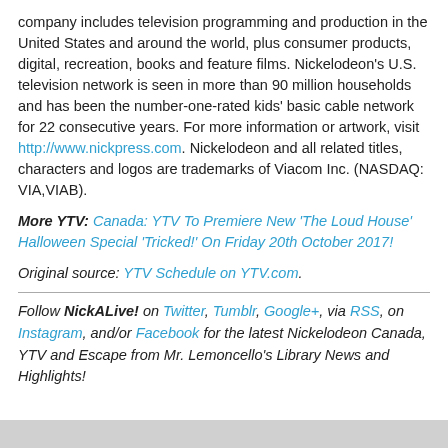company includes television programming and production in the United States and around the world, plus consumer products, digital, recreation, books and feature films. Nickelodeon's U.S. television network is seen in more than 90 million households and has been the number-one-rated kids' basic cable network for 22 consecutive years. For more information or artwork, visit http://www.nickpress.com. Nickelodeon and all related titles, characters and logos are trademarks of Viacom Inc. (NASDAQ: VIA,VIAB).
More YTV: Canada: YTV To Premiere New 'The Loud House' Halloween Special 'Tricked!' On Friday 20th October 2017!
Original source: YTV Schedule on YTV.com.
Follow NickALive! on Twitter, Tumblr, Google+, via RSS, on Instagram, and/or Facebook for the latest Nickelodeon Canada, YTV and Escape from Mr. Lemoncello's Library News and Highlights!